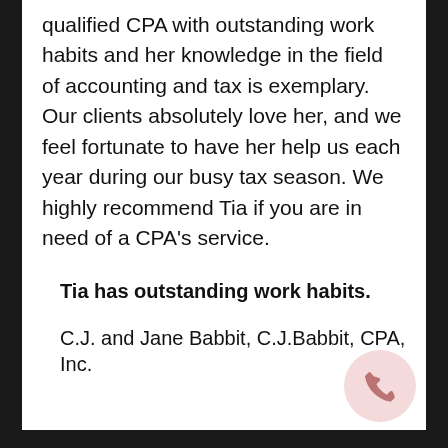qualified CPA with outstanding work habits and her knowledge in the field of accounting and tax is exemplary. Our clients absolutely love her, and we feel fortunate to have her help us each year during our busy tax season. We highly recommend Tia if you are in need of a CPA's service.
Tia has outstanding work habits.
C.J. and Jane Babbit, C.J.Babbit, CPA, Inc.
[Figure (illustration): Pink circle with a white phone handset icon, bottom-right corner]